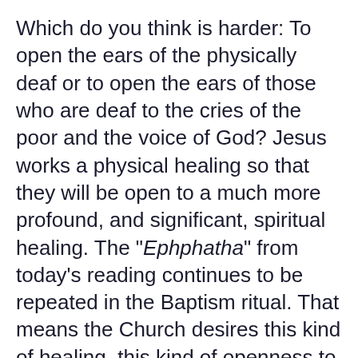Which do you think is harder: To open the ears of the physically deaf or to open the ears of those who are deaf to the cries of the poor and the voice of God? Jesus works a physical healing so that they will be open to a much more profound, and significant, spiritual healing. The "Ephphatha" from today's reading continues to be repeated in the Baptism ritual. That means the Church desires this kind of healing, this kind of openness to God's voice, for every Christian.
Prayer is "a response to the presence and action of God in our lives." We often want God to talk but we aren't willing to step away from the crowd. Oriens 2021 is a great opportunity to "tune in" to the voice of God. A couple weeks ago I invited people to share a